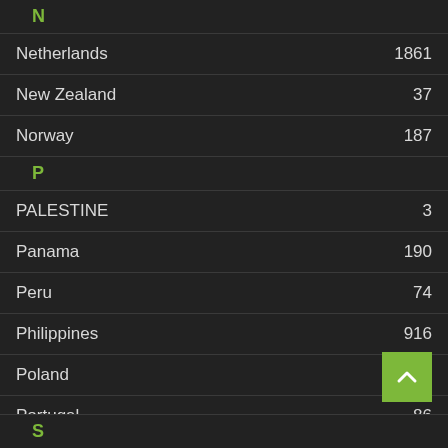N
Netherlands    1861
New Zealand    37
Norway    187
P
PALESTINE    3
Panama    190
Peru    74
Philippines    916
Poland    4259
Portugal    86
Puerto Rico    38
R
Romania    3626
Russia
S